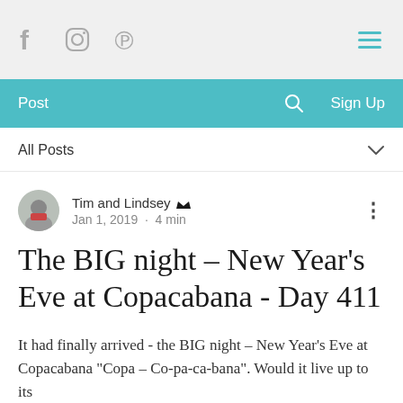Social media navigation bar with Facebook, Instagram, Pinterest icons and hamburger menu
Post | Search | Sign Up
All Posts
Tim and Lindsey [admin crown] Jan 1, 2019 · 4 min
The BIG night – New Year's Eve at Copacabana - Day 411
It had finally arrived - the BIG night – New Year's Eve at Copacabana "Copa – Co-pa-ca-bana". Would it live up to its